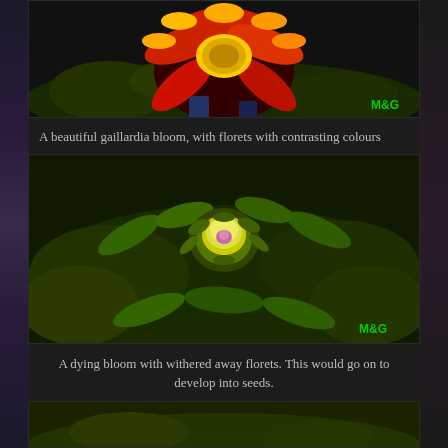[Figure (photo): A gaillardia bloom with red and yellow contrasting coloured florets, photographed close-up against a dark green leafy background. Watermark 'M&G' in green bottom-right.]
A beautiful gaillardia bloom, with florets with contrasting colours
[Figure (photo): A dying gaillardia bloom with withered florets, showing a yellow seed head surrounded by green bracts and leaves. Watermark 'M&G' in green bottom-right.]
A dying bloom with withered away florets. This would go on to develop into seeds.
[Figure (photo): Partial view of another flower or plant photo at the bottom of the page.]